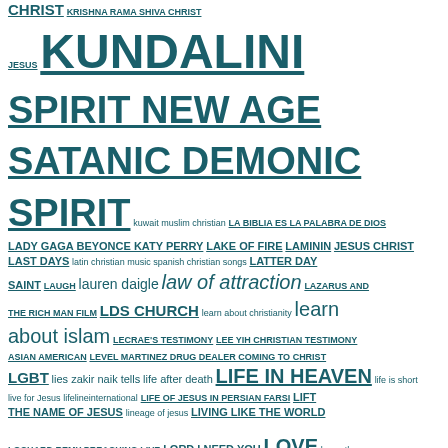CHRIST KRISHNA RAMA SHIVA CHRIST JESUS KUNDALINI SPIRIT NEW AGE SATANIC DEMONIC SPIRIT kuwait muslim christian LA BIBLIA ES LA PALABRA DE DIOS LADY GAGA BEYONCE KATY PERRY LAKE OF FIRE LAMININ JESUS CHRIST LAST DAYS latin christian music spanish christian songs LATTER DAY SAINT LAUGH lauren daigle law of attraction LAZARUS AND THE RICH MAN FILM LDS CHURCH learn about christianity learn about islam LECRAE'S TESTIMONY LEE YIH CHRISTIAN TESTIMONY ASIAN AMERICAN LEVEL MARTINEZ DRUG DEALER COMING TO CHRIST LGBT lies zakir naik tells life after death LIFE IN HEAVEN life is short live for Jesus lifelineinternational LIFE OF JESUS IN PERSIAN FARSI LIFT THE NAME OF JESUS lineage of jesus LIVING LIKE THE WORLD LOCHARD REMY PREACHING LIVE LORD I NEED YOU LOVE love others and pray for them LOVE YOUR ENEMIES love your parents loving each other lucifer luciferianism lynleahz MAFIA BOSS COMES TO JESUS CHRIST ma hu alkitab almaqadsa? MALAYALAM CHRISTIAN SONG malayalam film star testimony MALAYALAM TRINITY EXPLAINED KERALA MALAYALEE HINDU CONVERTS TO CHRISTIANITY MALAYALEE KERALA MUSLIM IN INDIA FINDS JESUS CHRIST MALAYSIA MUSLIM ISLAM malaysian jesus isa masih movie film cinema